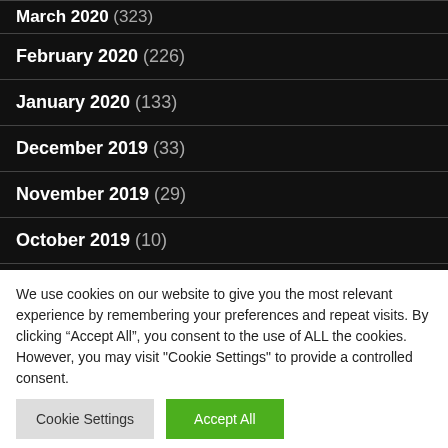March 2020 (323)
February 2020 (226)
January 2020 (133)
December 2019 (33)
November 2019 (29)
October 2019 (10)
September 2019 (7)
August 2019 (1)
We use cookies on our website to give you the most relevant experience by remembering your preferences and repeat visits. By clicking “Accept All”, you consent to the use of ALL the cookies. However, you may visit "Cookie Settings" to provide a controlled consent.